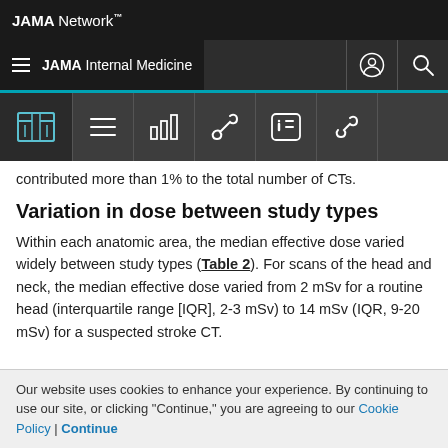JAMA Network™
≡ JAMA Internal Medicine
contributed more than 1% to the total number of CTs.
Variation in dose between study types
Within each anatomic area, the median effective dose varied widely between study types (Table 2). For scans of the head and neck, the median effective dose varied from 2 mSv for a routine head (interquartile range [IQR], 2-3 mSv) to 14 mSv (IQR, 9-20 mSv) for a suspected stroke CT.
Our website uses cookies to enhance your experience. By continuing to use our site, or clicking "Continue," you are agreeing to our Cookie Policy | Continue